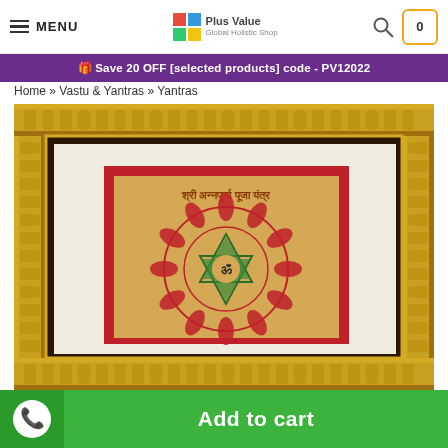MENU | Plus Value Logo | Search | Cart (0)
Save 20 OFF [selected products] code - PV12022
Home » Vastu & Yantras » Yantras
[Figure (photo): Framed Shri Annapurna Pooja Yantra with decorative dark wood and gold frame, red mat border, and mandala yantra artwork with Sanskrit text]
Add to cart